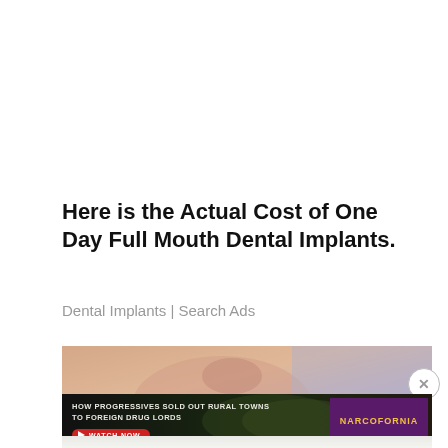Here is the Actual Cost of One Day Full Mouth Dental Implants.
Dental Implants | Search Ads
[Figure (photo): Close-up photo of a person's lower face/neck area against a light purple/grey background, partially visible]
[Figure (screenshot): Advertisement banner: 'HOW PROGRESSIVES SOLD OUT RURAL TOWNS TO FOREIGN DRUG LORDS' with a red WATCH NOW button and NARCOFORNIA logo on dark background with cannabis leaf imagery]